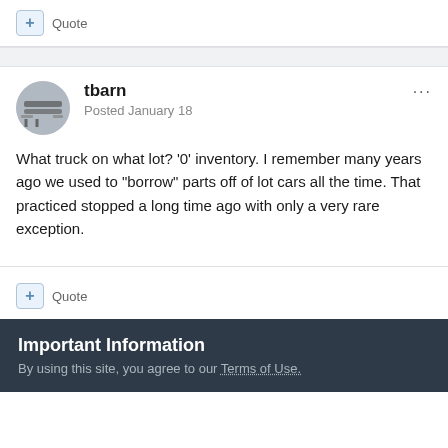+ Quote
tbarn
Posted January 18
What truck on what lot? '0' inventory. I remember many years ago we used to "borrow" parts off of lot cars all the time. That practiced stopped a long time ago with only a very rare exception.
+ Quote
Important Information
By using this site, you agree to our Terms of Use.